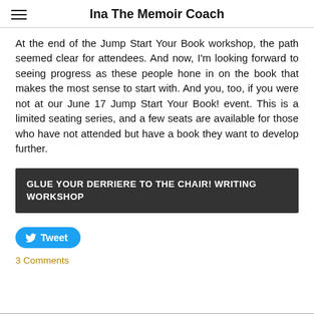Ina The Memoir Coach
At the end of the Jump Start Your Book workshop, the path seemed clear for attendees. And now, I'm looking forward to seeing progress as these people hone in on the book that makes the most sense to start with. And you, too, if you were not at our June 17 Jump Start Your Book! event. This is a limited seating series, and a few seats are available for those who have not attended but have a book they want to develop further.
GLUE YOUR DERRIERE TO THE CHAIR! WRITING WORKSHOP
Tweet
3 Comments